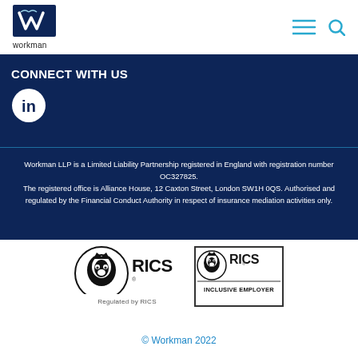[Figure (logo): Workman LLP logo - blue square with stylised W and the word 'workman' below]
[Figure (infographic): Navigation icons: hamburger menu and search icon in teal/cyan]
CONNECT WITH US
[Figure (logo): LinkedIn circle icon (white 'in' on dark blue background)]
Workman LLP is a Limited Liability Partnership registered in England with registration number OC327825. The registered office is Alliance House, 12 Caxton Street, London SW1H 0QS. Authorised and regulated by the Financial Conduct Authority in respect of insurance mediation activities only.
[Figure (logo): RICS Regulated by RICS logo - black lion head with RICS text]
[Figure (logo): RICS Inclusive Employer badge - black outlined box with lion head and RICS Inclusive Employer text]
© Workman 2022